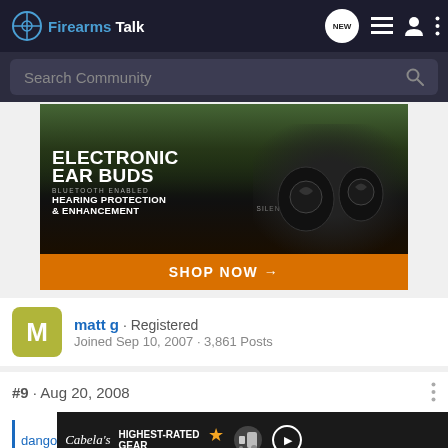FirearmsTalk - Navigation header with logo, NEW badge, list icon, user icon, and more icon
Search Community
[Figure (photo): Advertisement banner for Electronic Ear Buds - Bluetooth Enabled Hearing Protection & Enhancement, Silencer 2.0, with SHOP NOW button. Shows hunter in camouflage and product image.]
matt g · Registered
Joined Sep 10, 2007 · 3,861 Posts
#9 · Aug 20, 2008
[Figure (screenshot): Cabela's advertisement - Highest-Rated Gear, rating 4.2 stars, with gear image and play button]
dango